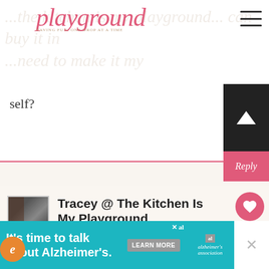The Kitchen Is My Playground — HAVING FUN, ONE DROP AT A TIME
self?
Reply
Tracey @ The Kitchen Is My Playground
October 29, 2016 at 12:43 PM
Seasoned dry bread crumbs ca... substitute, no problem.
[Figure (other): What's Next widget showing Quick Salami & Cream... with thumbnail]
[Figure (other): Advertisement banner: It's time to talk about Alzheimer's. LEARN MORE. Alzheimer's Association logo.]